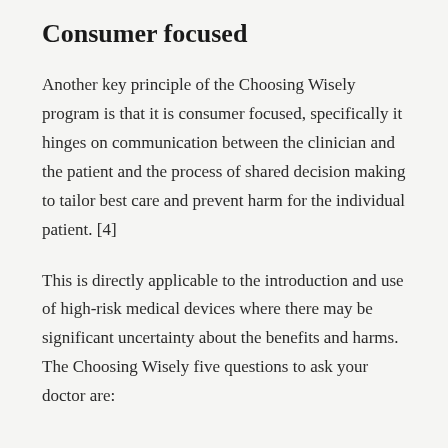Consumer focused
Another key principle of the Choosing Wisely program is that it is consumer focused, specifically it hinges on communication between the clinician and the patient and the process of shared decision making to tailor best care and prevent harm for the individual patient. [4]
This is directly applicable to the introduction and use of high-risk medical devices where there may be significant uncertainty about the benefits and harms. The Choosing Wisely five questions to ask your doctor are: